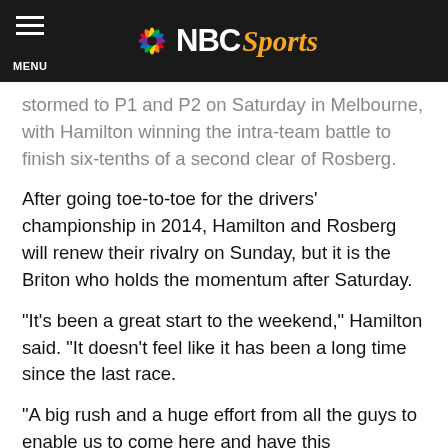NBC Sports
stormed to P1 and P2 on Saturday in Melbourne, with Hamilton winning the intra-team battle to finish six-tenths of a second clear of Rosberg.
After going toe-to-toe for the drivers' championship in 2014, Hamilton and Rosberg will renew their rivalry on Sunday, but it is the Briton who holds the momentum after Saturday.
“It’s been a great start to the weekend,” Hamilton said. “It doesn’t feel like it has been a long time since the last race.
“A big rush and a huge effort from all the guys to enable us to come here and have this performance. I feel incredibly blessed to have this car. Today we found a good balance, and it was just about trying to push in those laps.